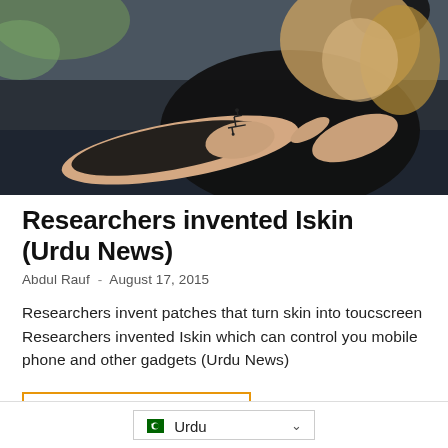[Figure (photo): A woman wearing black clothing and headphones sitting on a dark couch, pointing at a circuit-like tattoo/patch on her wrist with her other hand.]
Researchers invented Iskin (Urdu News)
Abdul Rauf  -  August 17, 2015
Researchers invent patches that turn skin into toucscreen Researchers invented Iskin which can control you mobile phone and other gadgets (Urdu News)
CONTINUE READING
Urdu